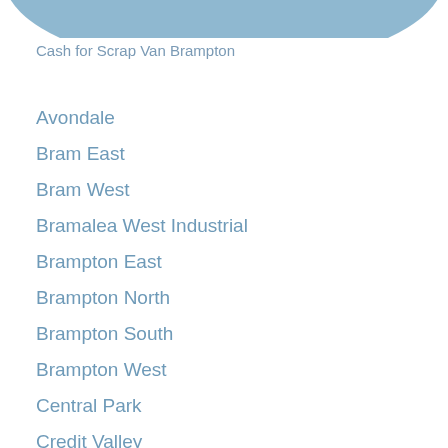[Figure (other): Partial blue ellipse/oval shape at top of page, cropped]
Cash for Scrap Van Brampton
Avondale
Bram East
Bram West
Bramalea West Industrial
Brampton East
Brampton North
Brampton South
Brampton West
Central Park
Credit Valley
Downtown Brampton
Fletcher's Creek South
Fletcher's Creek Village